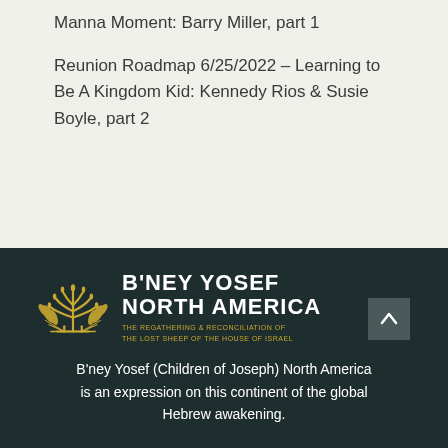Manna Moment: Barry Miller, part 1
Reunion Roadmap 6/25/2022 – Learning to Be A Kingdom Kid: Kennedy Rios & Susie Boyle, part 2
[Figure (logo): B'ney Yosef North America logo — golden menorah with wheat branches, white bold text reading B'NEY YOSEF NORTH AMERICA, gold tagline THE REGATHERING & RECONCILIATION OF THE LOST SHEEP OF THE HOUSE OF ISRAEL]
B'ney Yosef (Children of Joseph) North America is an expression on this continent of the global Hebrew awakening.